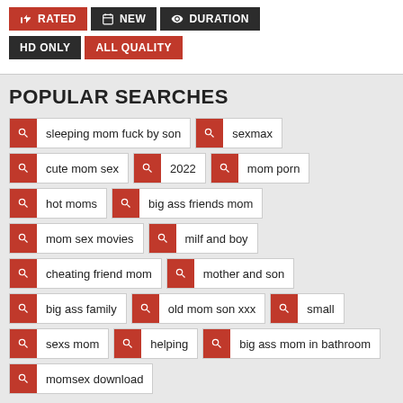RATED | NEW | DURATION | HD ONLY | ALL QUALITY
POPULAR SEARCHES
sleeping mom fuck by son
sexmax
cute mom sex
2022
mom porn
hot moms
big ass friends mom
mom sex movies
milf and boy
cheating friend mom
mother and son
big ass family
old mom son xxx
small
sexs mom
helping
big ass mom in bathroom
momsex download